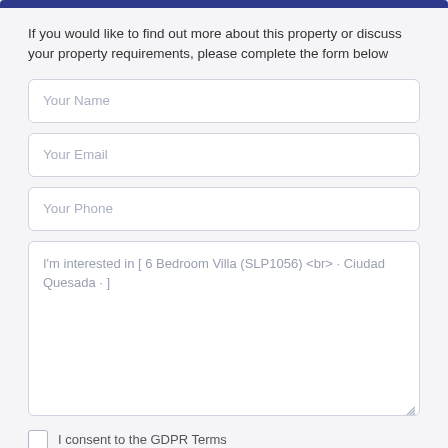If you would like to find out more about this property or discuss your property requirements, please complete the form below
[Figure (other): Web form with input fields: Your Name, Your Email, Your Phone, and a textarea pre-filled with 'I'm interested in [ 6 Bedroom Villa (SLP1056) <br> · Ciudad Quesada · ]', plus a GDPR consent checkbox]
I consent to the GDPR Terms